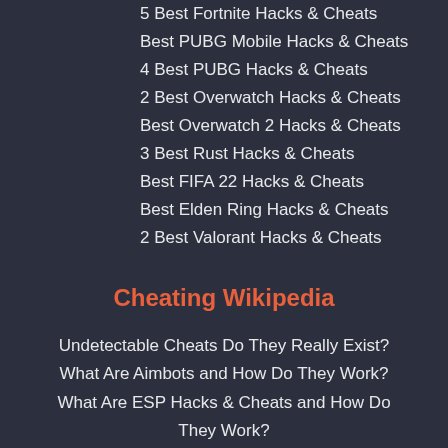5 Best Fortnite Hacks & Cheats
Best PUBG Mobile Hacks & Cheats
4 Best PUBG Hacks & Cheats
2 Best Overwatch Hacks & Cheats
Best Overwatch 2 Hacks & Cheats
3 Best Rust Hacks & Cheats
Best FIFA 22 Hacks & Cheats
Best Elden Ring Hacks & Cheats
2 Best Valorant Hacks & Cheats
Cheating Wikipedia
Undetectable Cheats Do They Really Exist?
What Are Aimbots and How Do They Work?
What Are ESP Hacks & Cheats and How Do They Work?
What Are Anti-Cheat Systems and How Do